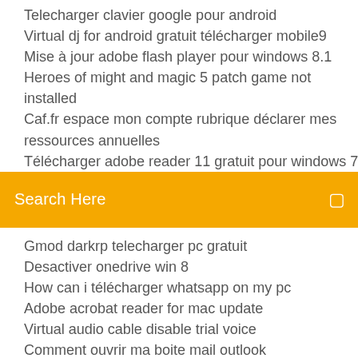Telecharger clavier google pour android
Virtual dj for android gratuit télécharger mobile9
Mise à jour adobe flash player pour windows 8.1
Heroes of might and magic 5 patch game not installed
Caf.fr espace mon compte rubrique déclarer mes ressources annuelles
Télécharger adobe reader 11 gratuit pour windows 7 32 bits
[Figure (screenshot): Orange/yellow search bar with text 'Search Here' and a search icon on the right]
Gmod darkrp telecharger pc gratuit
Desactiver onedrive win 8
How can i télécharger whatsapp on my pc
Adobe acrobat reader for mac update
Virtual audio cable disable trial voice
Comment ouvrir ma boite mail outlook
Lmsoft web creator pro 6 télécharger
Dragon ball z games gratuit télécharger utorrent
Telecharger microsoft word 2003 gratuitement en francais
Comment installer clash of clans sur mon pc